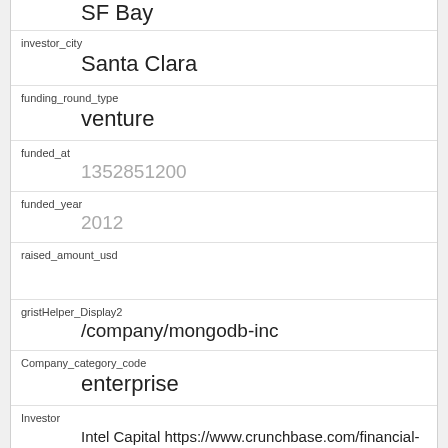| field | value |
| --- | --- |
| investor_city | Santa Clara |
| funding_round_type | venture |
| funded_at | 1352851200 |
| funded_year | 2012 |
| raised_amount_usd |  |
| gristHelper_Display2 | /company/mongodb-inc |
| Company_category_code | enterprise |
| Investor | Intel Capital https://www.crunchbase.com/financial-organization/intel-capital |
| field | value |
| --- | --- |
| id | 3313 |